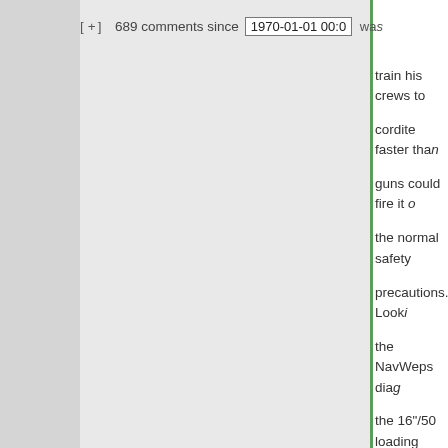[ + ] 689 comments since 1970-01-01 00:0 was
train his crews to cordite faster than guns could fire it d the normal safety precautions. Look the NavWeps dia the 16"/50 loading I'm not sure the g make 3 rpm long- it would be close everyone did the parts of the jobs r fast. I'm pretty su 15 seconds was f salvo 1 to salvo 2 because there's m they could get the